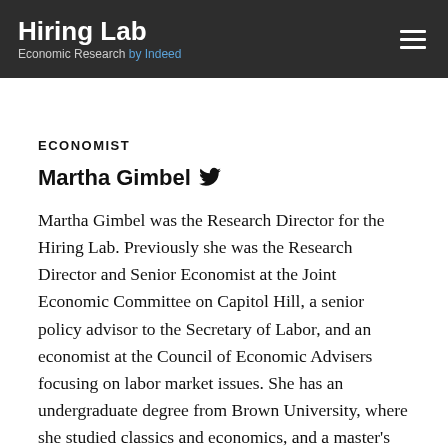Hiring Lab — Economic Research by Indeed
ECONOMIST
Martha Gimbel
Martha Gimbel was the Research Director for the Hiring Lab. Previously she was the Research Director and Senior Economist at the Joint Economic Committee on Capitol Hill, a senior policy advisor to the Secretary of Labor, and an economist at the Council of Economic Advisers focusing on labor market issues. She has an undergraduate degree from Brown University, where she studied classics and economics, and a master's degree from the